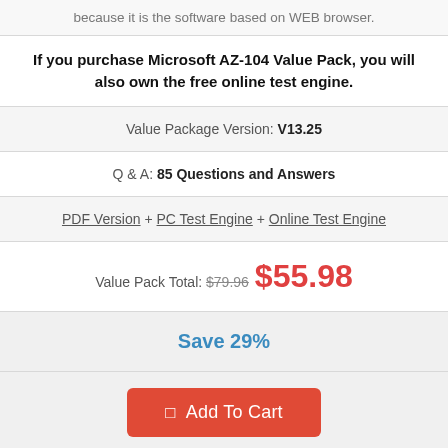because it is the software based on WEB browser.
If you purchase Microsoft AZ-104 Value Pack, you will also own the free online test engine.
Value Package Version: V13.25
Q & A: 85 Questions and Answers
PDF Version + PC Test Engine + Online Test Engine
Value Pack Total: $79.96 $55.98
Save 29%
Add To Cart